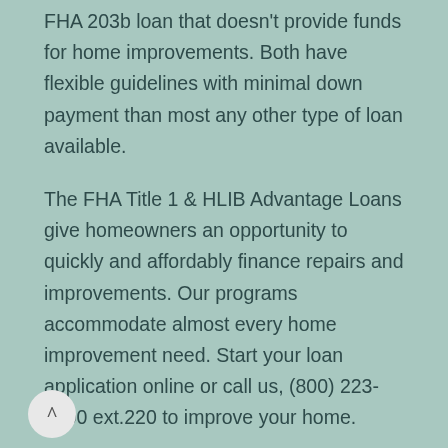FHA 203b loan that doesn't provide funds for home improvements. Both have flexible guidelines with minimal down payment than most any other type of loan available.
The FHA Title 1 & HLIB Advantage Loans give homeowners an opportunity to quickly and affordably finance repairs and improvements. Our programs accommodate almost every home improvement need. Start your loan application online or call us, (800) 223-1700 ext.220 to improve your home.
Loans For Fixer Uppers Funding a fixer-upper. While fixer-uppers have lower upfront costs (sometimes as much as 60-80 percent off the original asking price), they still require a down payment and repairs. That's hard to come up with all at once. Luckily, there are loans